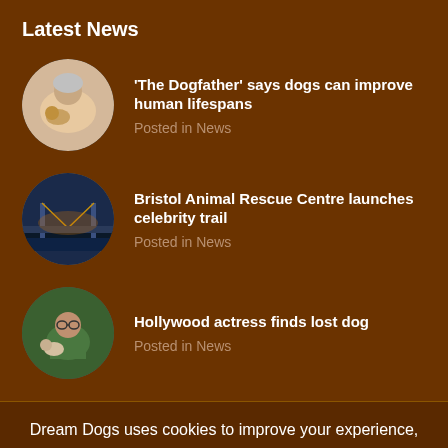Latest News
'The Dogfather' says dogs can improve human lifespans
Posted in News
Bristol Animal Rescue Centre launches celebrity trail
Posted in News
Hollywood actress finds lost dog
Posted in News
Dream Dogs uses cookies to improve your experience, much like doggies get biscuits to improve theirs! We'll assume you're ok with this, but you can opt-out if you wish.
SETTINGS
ACCEPT